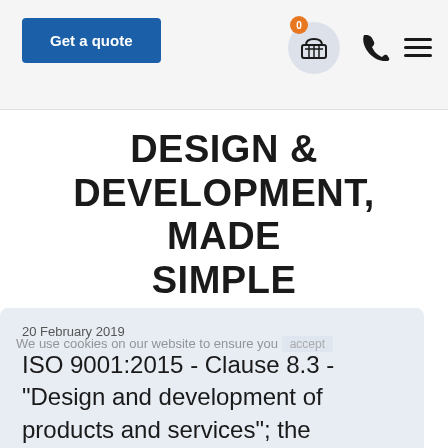Get a quote
DESIGN & DEVELOPMENT, MADE SIMPLE
20 February 2019
ISO 9001:2015 - Clause 8.3 - "Design and development of products and services"; the most dreaded auditable